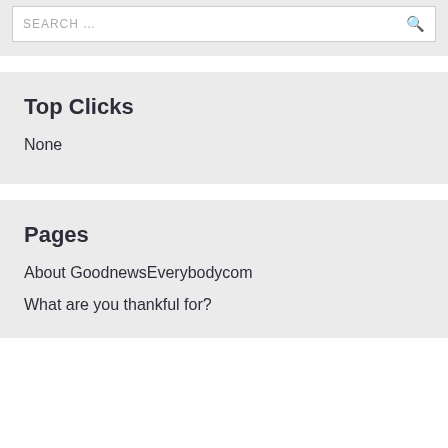[Figure (screenshot): Search input box with placeholder text SEARCH... and a magnifying glass icon on the right]
Top Clicks
None
Pages
About GoodnewsEverybodycom
What are you thankful for?